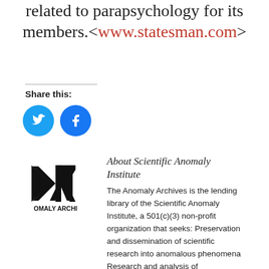related to parapsychology for its members.<www.statesman.com>
Share this:
[Figure (logo): Twitter and Facebook social share icon buttons (blue circles)]
[Figure (logo): Scientific Anomaly Institute / Anomaly Archives logo — stylized AR monogram in black with text OMALY ARCHI below]
About Scientific Anomaly Institute
The Anomaly Archives is the lending library of the Scientific Anomaly Institute, a 501(c)(3) non-profit organization that seeks: Preservation and dissemination of scientific research into anomalous phenomena Research and analysis of accumulated collections Education of the public regarding scientific investigations into these phenomena Purposes of the Institute: * Managing and developing an archive and library for documents and literature with regards to a multi-disciplinary approach to anomalous phenomena, *